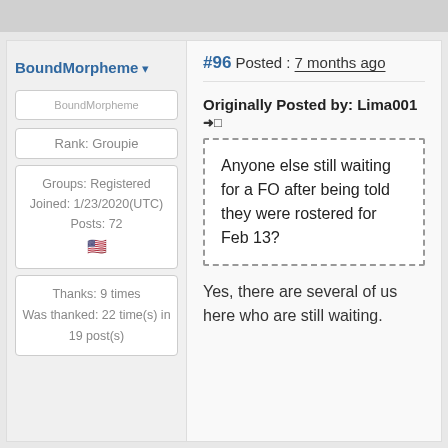BoundMorpheme
#96 Posted : 7 months ago
[Figure (photo): BoundMorpheme avatar placeholder image]
Rank: Groupie
Groups: Registered
Joined: 1/23/2020(UTC)
Posts: 72
🇺🇸
Thanks: 9 times
Was thanked: 22 time(s) in
19 post(s)
Originally Posted by: Lima001 ➜□
Anyone else still waiting for a FO after being told they were rostered for Feb 13?
Yes, there are several of us here who are still waiting.